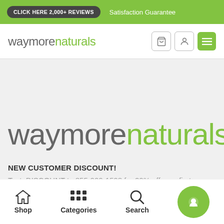CLICK HERE 2,000+ REVIEWS   Satisfaction Guarantee
[Figure (logo): waymorenaturals logo in nav bar - 'way' and 'more' in grey, 'naturals' in green]
[Figure (logo): Large waymorenaturals logo - 'way' and 'more' in grey, 'naturals' in green, hero size]
NEW CUSTOMER DISCOUNT!
Text: DISCOUNT to 855-909-1598 for 20% off your first
Shop   Categories   Search